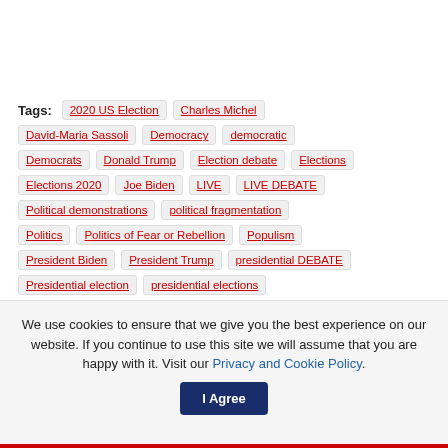Tags: 2020 US Election  Charles Michel  David-Maria Sassoli  Democracy  democratic  Democrats  Donald Trump  Election debate  Elections  Elections 2020  Joe Biden  LIVE  LIVE DEBATE  Political demonstrations  political fragmentation  Politics  Politics of Fear or Rebellion  Populism  President Biden  President Trump  presidential DEBATE  Presidential election  presidential elections
We use cookies to ensure that we give you the best experience on our website. If you continue to use this site we will assume that you are happy with it. Visit our Privacy and Cookie Policy.